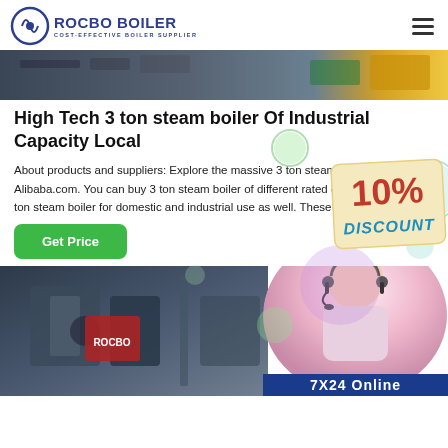ROCBO BOILER COST-EFFECTIVE BOILER SUPPLIER
[Figure (photo): Industrial boiler facility/machinery top banner image]
High Tech 3 ton steam boiler Of Industrial Capacity Local
About products and suppliers: Explore the massive 3 ton steam boiler collection at Alibaba.com. You can buy 3 ton steam boiler of different rated capacity and fuels.3 ton steam boiler for domestic and industrial use as well. These produ...
[Figure (infographic): 10% DISCOUNT badge/sticker overlay]
[Figure (photo): Customer service agent (woman with headset) photo on right side]
[Figure (photo): Industrial boiler equipment photo bottom left]
7X24 Online